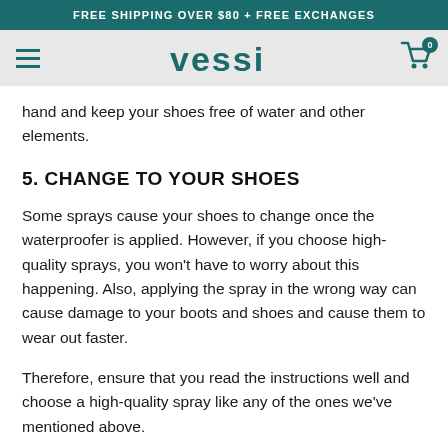FREE SHIPPING OVER $80 + FREE EXCHANGES
[Figure (logo): Vessi brand logo with hamburger menu and cart icon on grey navigation bar]
hand and keep your shoes free of water and other elements.
5. CHANGE TO YOUR SHOES
Some sprays cause your shoes to change once the waterproofer is applied. However, if you choose high-quality sprays, you won't have to worry about this happening. Also, applying the spray in the wrong way can cause damage to your boots and shoes and cause them to wear out faster.
Therefore, ensure that you read the instructions well and choose a high-quality spray like any of the ones we've mentioned above.